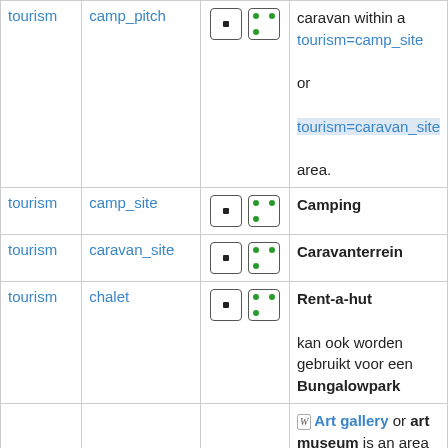| Key | Value | Icons | Description |
| --- | --- | --- | --- |
| tourism | camp_pitch | [icons] | caravan within a tourism=camp_site or tourism=caravan_site area. |
| tourism | camp_site | [icons] | Camping |
| tourism | caravan_site | [icons] | Caravanterrein |
| tourism | chalet | [icons] | Rent-a-hut kan ook worden gebruikt voor een Bungalowpark |
|  |  |  | [W] Art gallery or art museum is an area or typically a building that displays a |